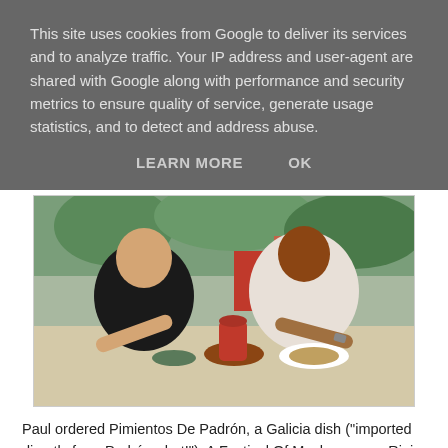This site uses cookies from Google to deliver its services and to analyze traffic. Your IP address and user-agent are shared with Google along with performance and security metrics to ensure quality of service, generate usage statistics, and to detect and address abuse.
LEARN MORE    OK
[Figure (photo): Two people sitting at an outdoor restaurant table eating food. A man in a black t-shirt on the left and a woman in a patterned top on the right, with dishes and a ceramic pitcher on the table.]
Paul ordered Pimientos De Padrón, a Galicia dish ("imported directly from Padrón - hot!"), A Festival Of Mushrooms, a Rioja dish ("chestnut and button mushrooms, sautéed in garlic butter and white wine") and Tortilla Española, an Españo dish ("Spanish omelette made with potatoes and...